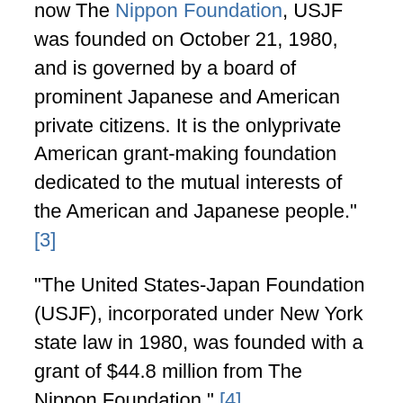now The Nippon Foundation, USJF was founded on October 21, 1980, and is governed by a board of prominent Japanese and American private citizens. It is the onlyprivate American grant-making foundation dedicated to the mutual interests of the American and Japanese people." [3]
"The United States-Japan Foundation (USJF), incorporated under New York state law in 1980, was founded with a grant of $44.8 million from The Nippon Foundation." [4]
"By November 1980, the United States-Japan Foundation was incorporated in New York as a non-profit organization, and early in 1981 it was recognized as a 501-C-3 charitable foundation. Its purposes were “exclusively educational, charitable, literary and scientific” and “to promote understanding of each other’s society, culture,